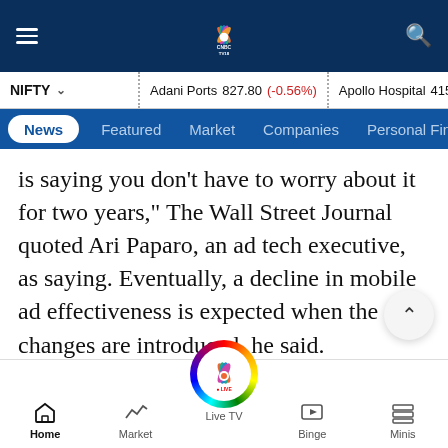[Figure (screenshot): CNBC TV18 top navigation bar with hamburger menu, CNBC TV18 peacock logo, and search icon on dark navy background]
[Figure (screenshot): Stock ticker bar showing NIFTY dropdown, Adani Ports 827.80 (-0.56%), Apollo Hospital 4154.60 (2.x%)]
[Figure (screenshot): Navigation menu with News (active/white pill), Featured, Market, Companies, Personal Finance tabs on blue background]
is saying you don't have to worry about it for two years,” The Wall Street Journal quoted Ari Paparo, an ad tech executive, as saying. Eventually, a decline in mobile ad effectiveness is expected when the changes are introduced, he said.
[Figure (screenshot): Bottom navigation bar with Home, Market, Live TV (with rainbow circle), Binge, Minis icons]